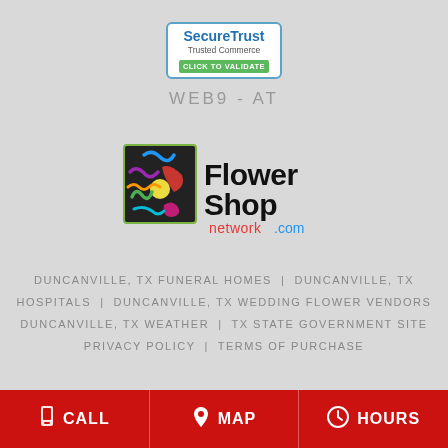[Figure (logo): SecureTrust Trusted Commerce badge with blue border and green CLICK TO VALIDATE button]
WEB9 - AT
[Figure (logo): Flower Shop Network .com logo with colorful flower graphic]
DUNCANVILLE, TX FUNERAL HOMES | DUNCANVILLE, TX HOSPITALS | DUNCANVILLE, TX WEDDING FLOWER VENDORS DUNCANVILLE, TX WEATHER | TX STATE GOVERNMENT SITE PRIVACY POLICY | TERMS OF PURCHASE
CALL | MAP | HOURS